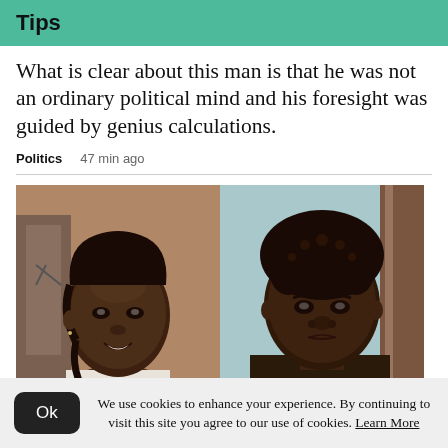Tips
What is clear about this man is that he was not an ordinary political mind and his foresight was guided by genius calculations.
Politics   47 min ago
[Figure (photo): Two side-by-side photos of a young woman: left photo shows her smiling with braided hair in a warm-toned indoor setting; right photo shows her with short natural hair against a light blue background.]
We use cookies to enhance your experience. By continuing to visit this site you agree to our use of cookies. Learn More